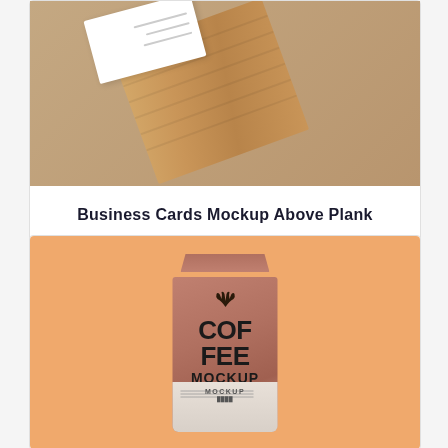[Figure (photo): Top-down view of wooden business card mockup on a tan/brown background, showing a wooden plank with business cards placed on it]
Business Cards Mockup Above Plank
[Figure (photo): Coffee bag mockup on orange background showing a kraft paper bag with 'COF FEE MOCKUP' text and antler logo]